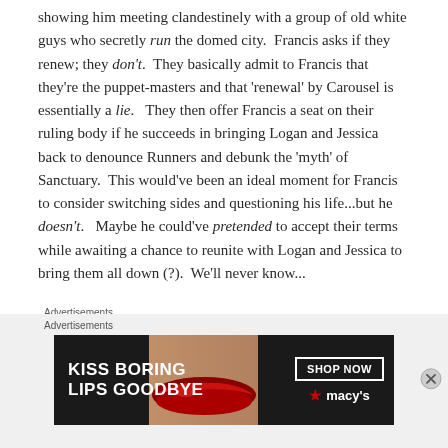showing him meeting clandestinely with a group of old white guys who secretly run the domed city.  Francis asks if they renew; they don't.  They basically admit to Francis that they're the puppet-masters and that 'renewal' by Carousel is essentially a lie.   They then offer Francis a seat on their ruling body if he succeeds in bringing Logan and Jessica back to denounce Runners and debunk the 'myth' of Sanctuary.  This would've been an ideal moment for Francis to consider switching sides and questioning his life...but he doesn't.   Maybe he could've pretended to accept their terms while awaiting a chance to reunite with Logan and Jessica to bring them all down (?).  We'll never know...
Advertisements
[Figure (other): Advertisement banner for Macy's lipstick promotion. Dark background with woman's face and red lips. Text reads 'KISS BORING LIPS GOODBYE' with 'SHOP NOW' button and Macy's star logo.]